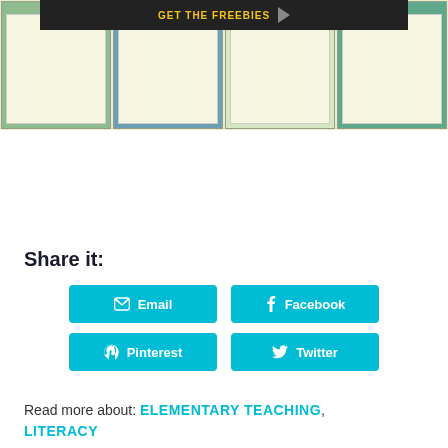[Figure (photo): Collage of four clipboard images showing monthly calendar/attendance tracker worksheets (September, October, November) with pencils and scissors, on a light yellow-green background. A dark banner at the top reads 'GET THE FREEBIES' with an arrow cursor icon.]
Share it:
Email | Facebook | Pinterest | Twitter (share buttons)
Read more about: ELEMENTARY TEACHING, LITERACY